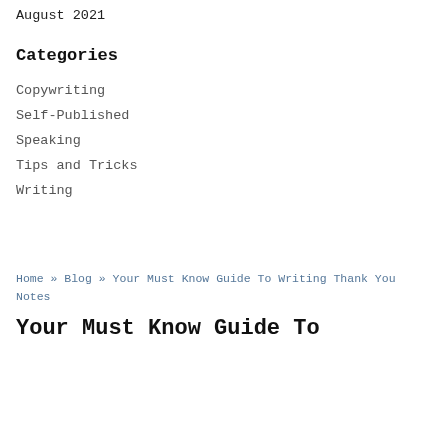August 2021
Categories
Copywriting
Self-Published
Speaking
Tips and Tricks
Writing
Home » Blog » Your Must Know Guide To Writing Thank You Notes
Your Must Know Guide To